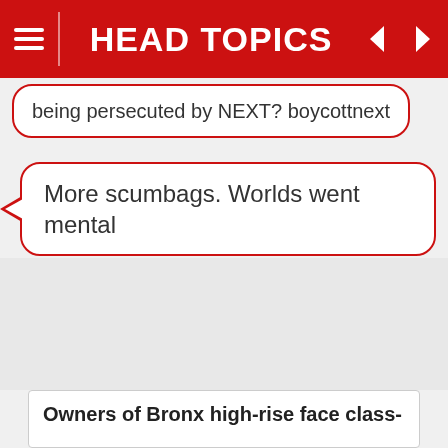HEAD TOPICS
being persecuted by NEXT? boycottnext
More scumbags. Worlds went mental
Owners of Bronx high-rise face class-